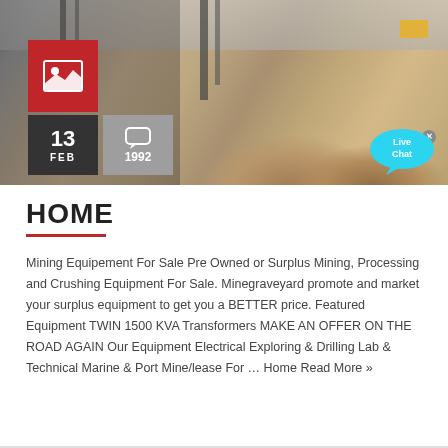[Figure (photo): Mining/construction site with equipment, dirt mounds, and steel structures. Overlaid with a red box containing image icon, a dark box showing date '13 FEB', a grey box showing comment count '1992', and a cyan Live Chat bubble in the bottom right.]
HOME
Mining Equipement For Sale Pre Owned or Surplus Mining, Processing and Crushing Equipment For Sale. Minegraveyard promote and market your surplus equipment to get you a BETTER price. Featured Equipment TWIN 1500 KVA Transformers MAKE AN OFFER ON THE ROAD AGAIN Our Equipment Electrical Exploring & Drilling Lab & Technical Marine & Port Mine/lease For … Home Read More »